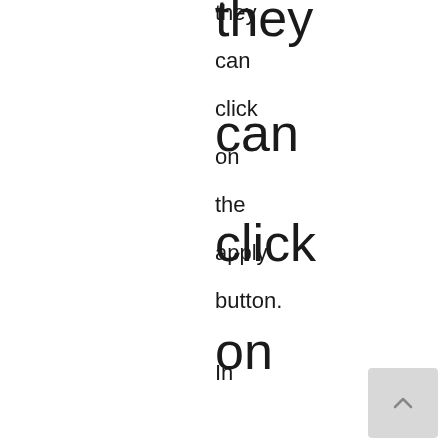they can click on the apply button. In
[Figure (other): Scroll-to-top button with upward chevron arrow]